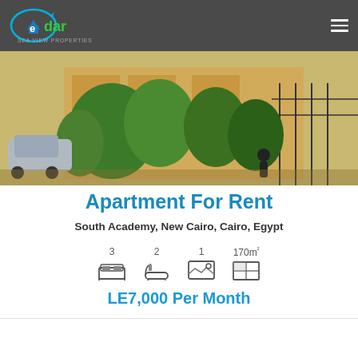edar Sea View Properties
[Figure (photo): Exterior photo of a residential building with trees, a car, and iron fence gate visible in an Egyptian neighborhood]
Apartment For Rent
South Academy, New Cairo, Cairo, Egypt
[Figure (infographic): Property icons: 3 bedrooms (bed icon), 2 bathrooms (bathtub icon), 1 photo/view (landscape icon), 170m² area (floor plan icon)]
LE7,000 Per Month